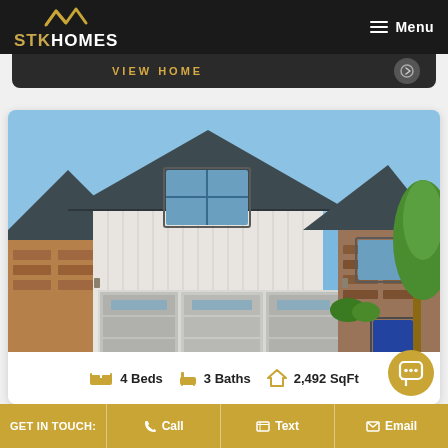STK HOMES
VIEW HOME
[Figure (photo): Exterior photo of a modern craftsman-style single-story home with white board-and-batten siding, dark roof, triple garage door, brick accents, and green lawn under blue sky]
4 Beds   3 Baths   2,492 SqFt
GET IN TOUCH:   Call   Text   Email